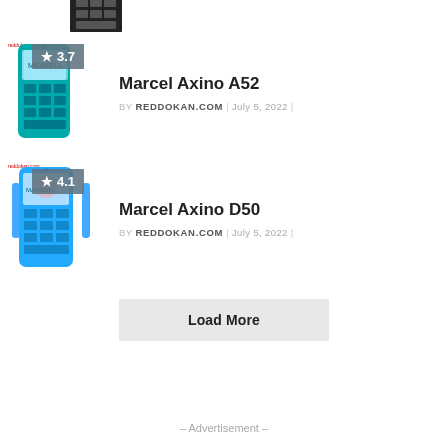[Figure (photo): Partial view of a black feature phone (top cropped) at top of page]
[Figure (photo): Marcel Axino A52 teal feature phone with rating badge 3.7]
Marcel Axino A52
BY REDDOKAN.COM | July 5, 2022 |
[Figure (photo): Marcel Axino D50 blue feature phone with rating badge 4.1]
Marcel Axino D50
BY REDDOKAN.COM | July 5, 2022 |
Load More
– Advertisement –